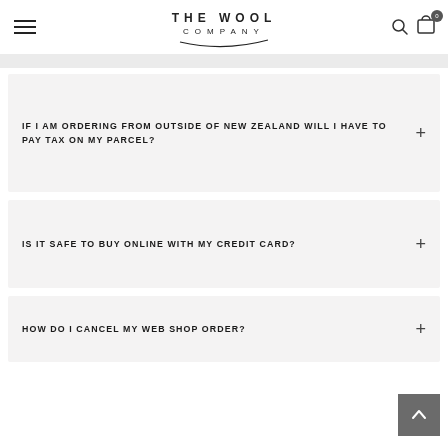THE WOOL COMPANY
IF I AM ORDERING FROM OUTSIDE OF NEW ZEALAND WILL I HAVE TO PAY TAX ON MY PARCEL?
IS IT SAFE TO BUY ONLINE WITH MY CREDIT CARD?
HOW DO I CANCEL MY WEB SHOP ORDER?